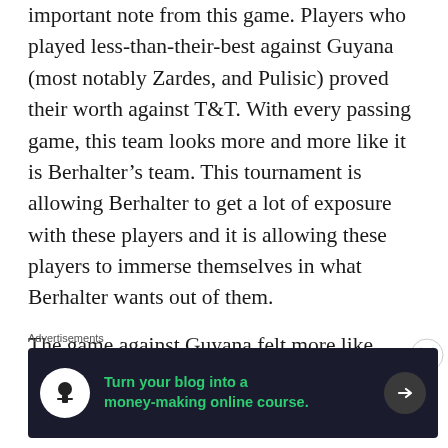important note from this game. Players who played less-than-their-best against Guyana (most notably Zardes, and Pulisic) proved their worth against T&T. With every passing game, this team looks more and more like it is Berhalter's team. This tournament is allowing Berhalter to get a lot of exposure with these players and it is allowing these players to immerse themselves in what Berhalter wants out of them.
The game against Guyana felt more like growing pains, tonight's game against T&T felt
Advertisements
[Figure (infographic): Dark advertisement banner: circle icon with person/tree silhouette, green text 'Turn your blog into a money-making online course.' with arrow button on right]